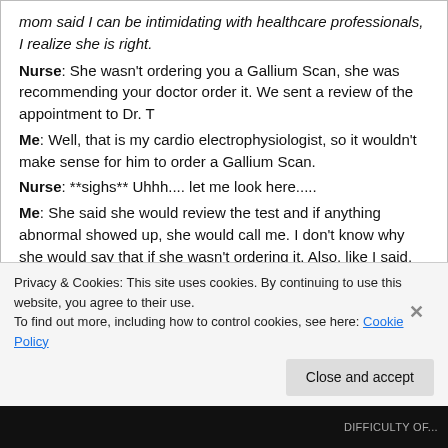mom said I can be intimidating with healthcare professionals, I realize she is right.
Nurse: She wasn't ordering you a Gallium Scan, she was recommending your doctor order it. We sent a review of the appointment to Dr. T
Me: Well, that is my cardio electrophysiologist, so it wouldn't make sense for him to order a Gallium Scan.
Nurse: **sighs** Uhhh.... let me look here.....
Me: She said she would review the test and if anything abnormal showed up, she would call me. I don't know why she would say that if she wasn't ordering it. Also, like I said, as I left she
Privacy & Cookies: This site uses cookies. By continuing to use this website, you agree to their use.
To find out more, including how to control cookies, see here: Cookie Policy
Close and accept